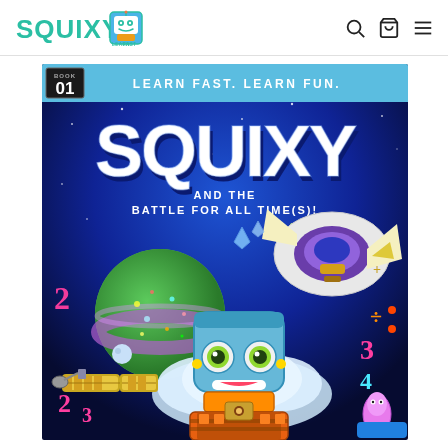SQUIXY [logo] — Search | Cart | Menu
[Figure (illustration): Book cover for 'Squixy and the Battle for All Time(s)!' Book 01. Blue space-themed children's educational book cover featuring the robot character Squixy, floating numbers (1,2,3,4,2,3), planets, a satellite, a spacecraft, and math symbols. Banner reads 'LEARN FAST. LEARN FUN.' across the top in light blue.]